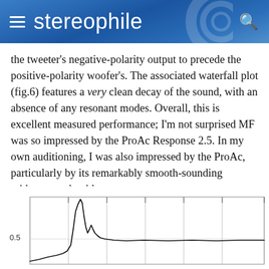stereophile
the tweeter's negative-polarity output to precede the positive-polarity woofer's. The associated waterfall plot (fig.6) features a very clean decay of the sound, with an absence of any resonant modes. Overall, this is excellent measured performance; I'm not surprised MF was so impressed by the ProAc Response 2.5. In my own auditioning, I was also impressed by the ProAc, particularly by its remarkably smooth-sounding midrange and treble.— John Atkinson
[Figure (continuous-plot): Partial view of a waterfall plot or frequency response chart with a prominent peak around 0.5 on the y-axis, showing a sharp resonance peak followed by decay. The chart has gridlines and tick marks along the top and sides.]